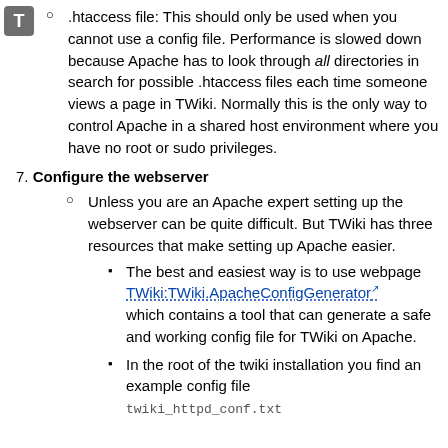.htaccess file: This should only be used when you cannot use a config file. Performance is slowed down because Apache has to look through all directories in search for possible .htaccess files each time someone views a page in TWiki. Normally this is the only way to control Apache in a shared host environment where you have no root or sudo privileges.
7. Configure the webserver
Unless you are an Apache expert setting up the webserver can be quite difficult. But TWiki has three resources that make setting up Apache easier.
The best and easiest way is to use webpage TWiki:TWiki.ApacheConfigGenerator which contains a tool that can generate a safe and working config file for TWiki on Apache.
In the root of the twiki installation you find an example config file twiki_httpd_conf.txt